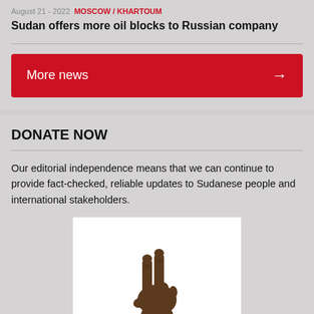August 21 - 2022  MOSCOW / KHARTOUM
Sudan offers more oil blocks to Russian company
More news →
DONATE NOW
Our editorial independence means that we can continue to provide fact-checked, reliable updates to Sudanese people and international stakeholders.
[Figure (photo): A hand making a peace/victory sign (two fingers raised), belonging to a dark-skinned person wearing a light blue shirt, photographed against a white background.]